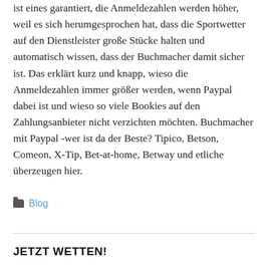ist eines garantiert, die Anmeldezahlen werden höher, weil es sich herumgesprochen hat, dass die Sportwetter auf den Dienstleister große Stücke halten und automatisch wissen, dass der Buchmacher damit sicher ist. Das erklärt kurz und knapp, wieso die Anmeldezahlen immer größer werden, wenn Paypal dabei ist und wieso so viele Bookies auf den Zahlungsanbieter nicht verzichten möchten. Buchmacher mit Paypal -wer ist da der Beste? Tipico, Betson, Comeon, X-Tip, Bet-at-home, Betway und etliche überzeugen hier.
Blog
JETZT WETTEN!